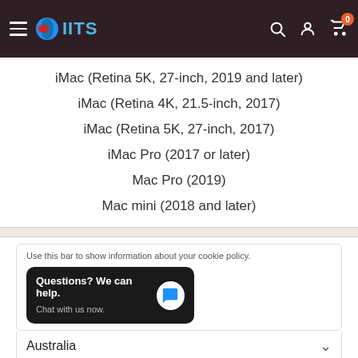IITS navigation header with logo, search, account, and cart icons
iMac (Retina 5K, 27-inch, 2019 and later)
iMac (Retina 4K, 21.5-inch, 2017)
iMac (Retina 5K, 27-inch, 2017)
iMac Pro (2017 or later)
Mac Pro (2019)
Mac mini (2018 and later)
Use this bar to show information about your cookie policy.
Questions? We can help. Chat with us now.
Australia